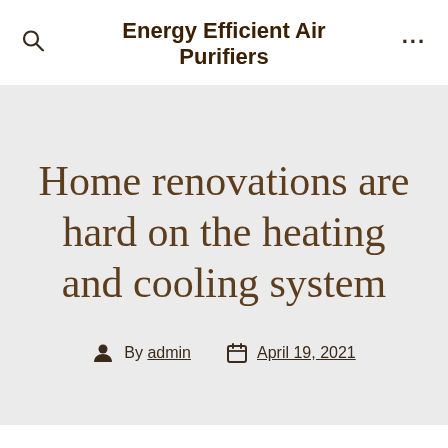Energy Efficient Air Purifiers
Home renovations are hard on the heating and cooling system
By admin  April 19, 2021